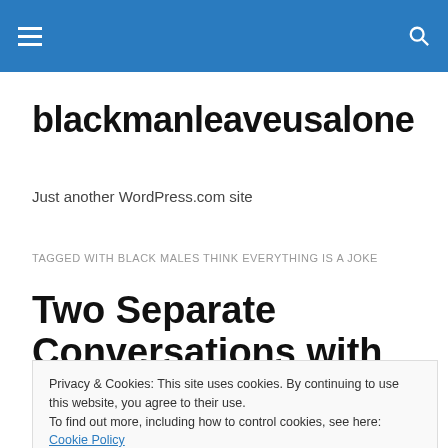blackmanleaveusalone — navigation header
blackmanleaveusalone
Just another WordPress.com site
TAGGED WITH BLACK MALES THINK EVERYTHING IS A JOKE
Two Separate Conversations with Sunni Muslim Women:
Privacy & Cookies: This site uses cookies. By continuing to use this website, you agree to their use. To find out more, including how to control cookies, see here: Cookie Policy
One day I was at a retail store when a younger